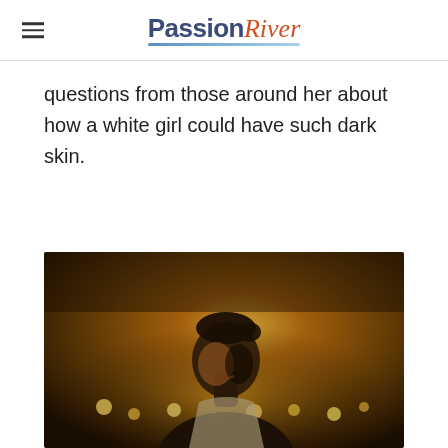Passion River
questions from those around her about how a white girl could have such dark skin.
[Figure (photo): A man with dark hair in a dirty white shirt, looking upward and to the side with a slight smile, illuminated by warm golden firelight behind him in a dark, smoky scene.]